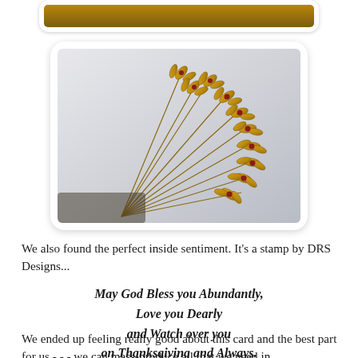[Figure (photo): Partial view of a greeting card with brown/gold botanical stamp design showing wheat or grain stems with decorative leaves/berries, photographed at an angle on a light background. The image is framed with a white rounded-corner border like a polaroid photo.]
We also found the perfect inside sentiment.  It's a stamp by DRS Designs...
May God Bless you Abundantly,
Love you Dearly
and Watch over you
on Thanksgiving and Always.
We ended up feeling really good about this card and the best part for us - - - we can mass-produce all that we need in